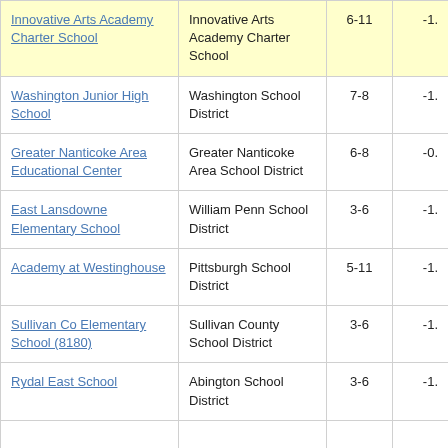| School | District | Grades | Value |
| --- | --- | --- | --- |
| Innovative Arts Academy Charter School | Innovative Arts Academy Charter School | 6-11 | -1. |
| Washington Junior High School | Washington School District | 7-8 | -1. |
| Greater Nanticoke Area Educational Center | Greater Nanticoke Area School District | 6-8 | -0. |
| East Lansdowne Elementary School | William Penn School District | 3-6 | -1. |
| Academy at Westinghouse | Pittsburgh School District | 5-11 | -1. |
| Sullivan Co Elementary School (8180) | Sullivan County School District | 3-6 | -1. |
| Rydal East School | Abington School District | 3-6 | -1. |